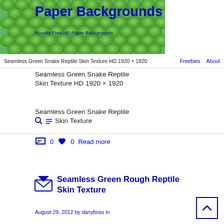[Figure (photo): Green snake reptile skin texture background image with Paper Backgrounds site title overlay]
Paper Backgrounds
Royalty Free HD Paper Backgrounds
Seamless Green Snake Reptile Skin Texture HD 1920 × 1920   Freebies   About
Seamless Green Snake Reptile Skin Texture HD 1920 × 1920
Seamless Green Snake Reptile Skin Texture
0   0   Read more
Seamless Green Rough Reptile Skin Texture
August 29, 2012 by danyboss in